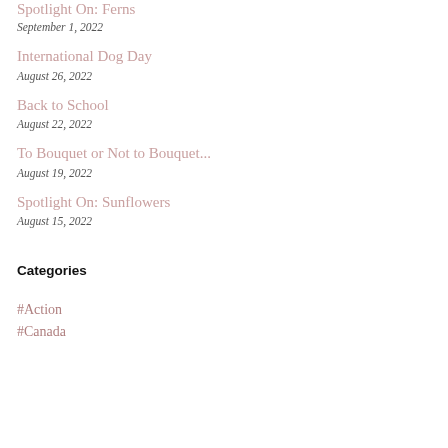Spotlight On: Ferns
September 1, 2022
International Dog Day
August 26, 2022
Back to School
August 22, 2022
To Bouquet or Not to Bouquet...
August 19, 2022
Spotlight On: Sunflowers
August 15, 2022
Categories
#Action
#Canada